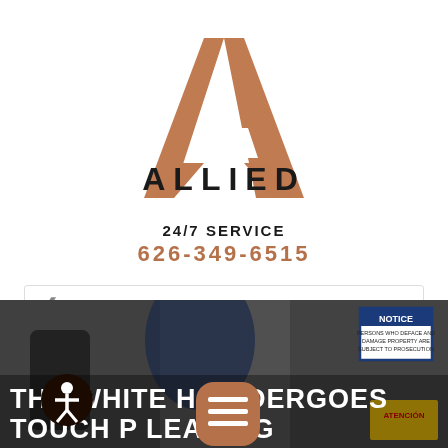[Figure (logo): Allied logo: copper/bronze colored letter A shape (triangle with notch), with text ALLIED below in black capitals, and two angled copper stripe legs at the bottom]
24/7 SERVICE
626-349-6515
May
[Figure (photo): Background photo of a room being cleaned with equipment; overlaid text reads THE WHITE H [menu icon] UNDERGOES TOUCH P [menu icon] CLEANING with accessibility icon and hamburger menu button visible]
THE WHITE H UNDERGOES TOUCH P LEANING